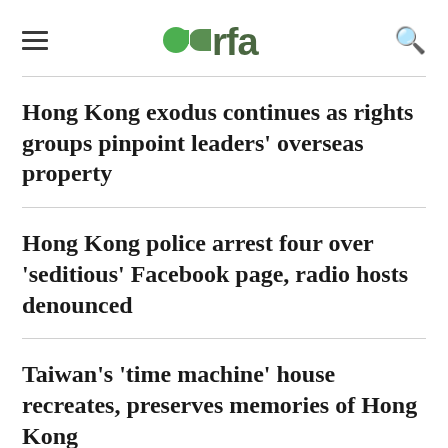rfa
Hong Kong exodus continues as rights groups pinpoint leaders' overseas property
Hong Kong police arrest four over 'seditious' Facebook page, radio hosts denounced
Taiwan's 'time machine' house recreates, preserves memories of Hong Kong